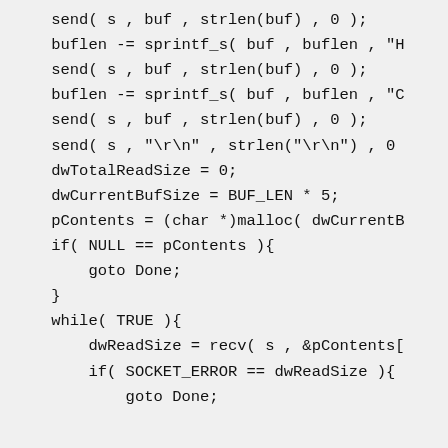send( s , buf , strlen(buf) , 0 );
buflen -= sprintf_s( buf , buflen , "H
send( s , buf , strlen(buf) , 0 );
buflen -= sprintf_s( buf , buflen , "C
send( s , buf , strlen(buf) , 0 );
send( s , "\r\n" , strlen("\r\n") , 0
dwTotalReadSize = 0;
dwCurrentBufSize = BUF_LEN * 5;
pContents = (char *)malloc( dwCurrentB
if( NULL == pContents ){
    goto Done;
}
while( TRUE ){
    dwReadSize = recv( s , &pContents[
    if( SOCKET_ERROR == dwReadSize ){
        goto Done;